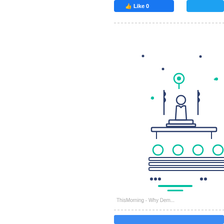[Figure (illustration): Partial view of a web page sidebar showing a Facebook like button (blue, partially cropped at top right), a dashed divider line, an icon illustration of a government/parliament chamber scene with a speaker at a podium, flags, audience members shown as teal outline figures on dark navy benches, a location pin icon at top in teal, decorative dots in teal and dark blue around the illustration, a dashed divider, caption text reading 'ThisMorning - Why Dem...' in gray, another dashed divider, and a partial blue bar at the bottom. The left two-thirds of the page is blank white.]
ThisMorning - Why Dem...